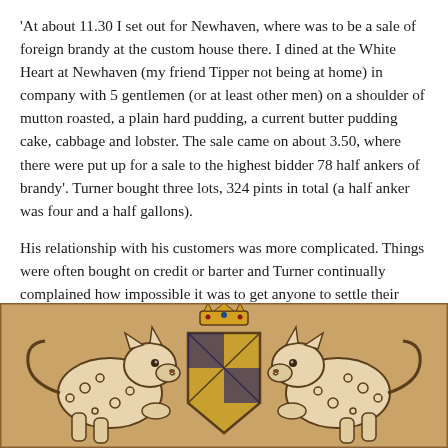'At about 11.30 I set out for Newhaven, where was to be a sale of foreign brandy at the custom house there. I dined at the White Heart at Newhaven (my friend Tipper not being at home) in company with 5 gentlemen (or at least other men) on a shoulder of mutton roasted, a plain hard pudding, a current butter pudding cake, cabbage and lobster. The sale came on about 3.50, where there were put up for a sale to the highest bidder 78 half ankers of brandy'. Turner bought three lots, 324 pints in total (a half anker was four and a half gallons).
His relationship with his customers was more complicated. Things were often bought on credit or barter and Turner continually complained how impossible it was to get anyone to settle their bills. As we see underneath this could lead to arguments. The pub referred to in this entry as The Cats is actually the Dorset Arms (still trading today), who earned its feline nickname from the two snow leopards on the Earl of Dorset's coat of arms that featured on the pub's sign.
[Figure (illustration): Medieval heraldic illustration showing two snow leopards (cats) flanking a crowned shield — the coat of arms of the Earl of Dorset, rendered in a tan/sepia palette with dark ink outlines on a warm parchment-colored background.]